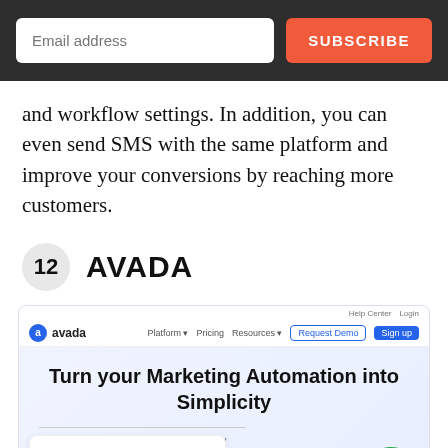Email address | SUBSCRIBE
and workflow settings. In addition, you can even send SMS with the same platform and improve your conversions by reaching more customers.
12  AVADA
[Figure (screenshot): Screenshot of the Avada marketing automation platform website showing navigation bar with Platform, Pricing, Resources, Request Demo, and Sign up buttons, a hero section with headline 'Turn your Marketing Automation into Simplicity', a cookie consent banner reading 'We're using cookies! What does it mean?', a help chat bubble with fire, question mark, and person emoji, and footer badges for 1-click to install, 14-day free trial, 30-day refund guarantee.]